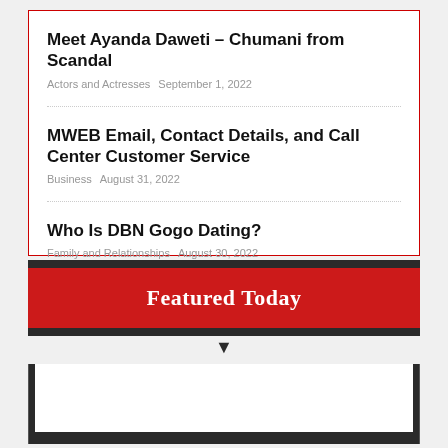Meet Ayanda Daweti – Chumani from Scandal
Actors and Actresses   September 1, 2022
MWEB Email, Contact Details, and Call Center Customer Service
Business   August 31, 2022
Who Is DBN Gogo Dating?
Family and Relationships   August 30, 2022
Featured Today